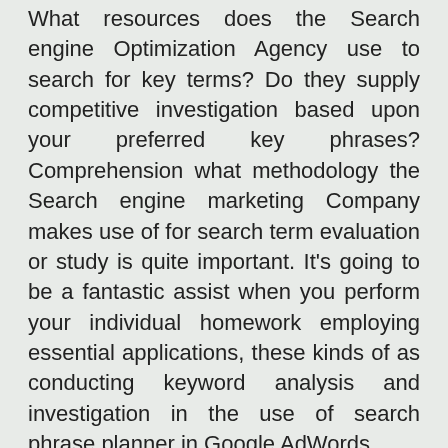What resources does the Search engine Optimization Agency use to search for key terms? Do they supply competitive investigation based upon your preferred key phrases? Comprehension what methodology the Search engine marketing Company makes use of for search term evaluation or study is quite important. It's going to be a fantastic assist when you perform your individual homework employing essential applications, these kinds of as conducting keyword analysis and investigation in the use of search phrase planner in Google AdWords.
One way links to Internet site
The place will the Search engine optimisation Enterprise return backlinks from? Back links are just as, if not much more, essential in Seo than onsite